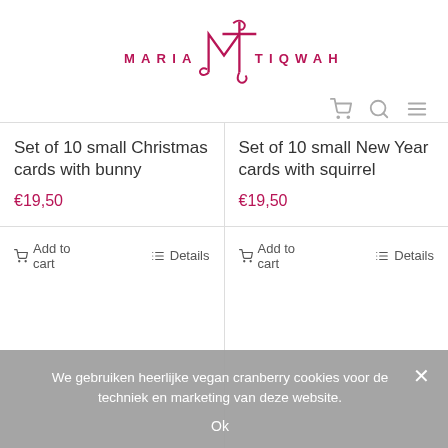[Figure (logo): Maria Tiqwah brand logo with decorative MT monogram in crimson/dark pink]
Set of 10 small Christmas cards with bunny
€19,50
Add to cart
Details
Set of 10 small New Year cards with squirrel
€19,50
Add to cart
Details
We gebruiken heerlijke vegan cranberry cookies voor de techniek en marketing van deze website.
Ok